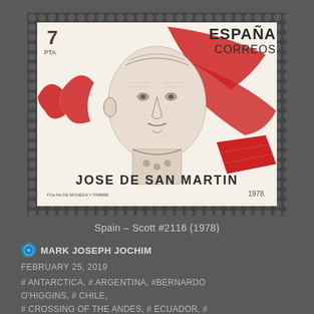[Figure (photo): Spanish postage stamp from 1978 depicting Jose de San Martin. The stamp shows a portrait engraving of Jose de San Martin with red swooping flag/cape design elements. Text on stamp reads: 7, PTA, ESPAÑA, CORREOS, JOSE DE SAN MARTIN, FCa Na DE MONEDA Y TIMBRE, 1978. The stamp has a perforated edge design.]
Spain – Scott #2116 (1978)
MARK JOSEPH JOCHIM
FEBRUARY 25, 2019
# ANTARCTICA, # ARGENTINA, #BERNARDO O'HIGGINS, # CHILE, # CROSSING OF THE ANDES, # ECUADOR, # GUAYAQUIL